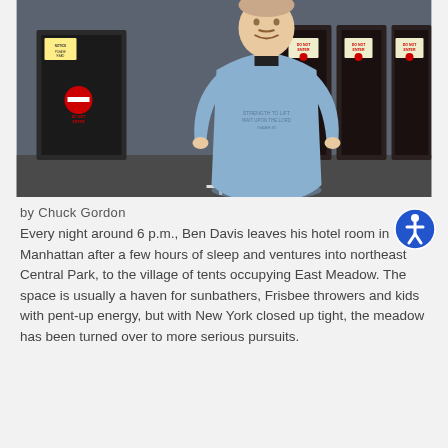[Figure (photo): A man in a blue medical gown/apron standing and smiling in front of a building entrance with 'DO NOT ENTER' signs on the doors, and 'DO NOT ENTER' red circle signs. He is wearing a black shirt under the gown. The gown has text printed on it.]
by Chuck Gordon
Every night around 6 p.m., Ben Davis leaves his hotel room in Manhattan after a few hours of sleep and ventures into northeast Central Park, to the village of tents occupying East Meadow. The space is usually a haven for sunbathers, Frisbee throwers and kids with pent-up energy, but with New York closed up tight, the meadow has been turned over to more serious pursuits.